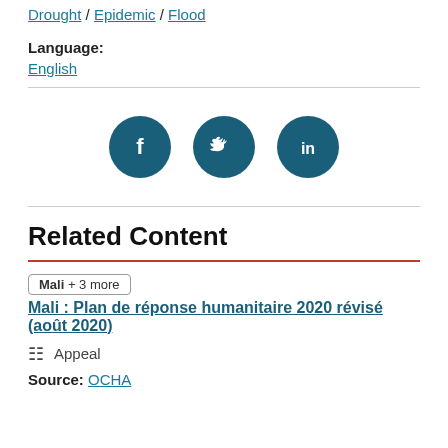Drought / Epidemic / Flood
Language:
English
[Figure (infographic): Three social media icon circles: Facebook (f), Twitter (bird), LinkedIn (in), dark teal color]
Related Content
Mali + 3 more   Mali : Plan de réponse humanitaire 2020 révisé (août 2020)
Appeal
Source: OCHA